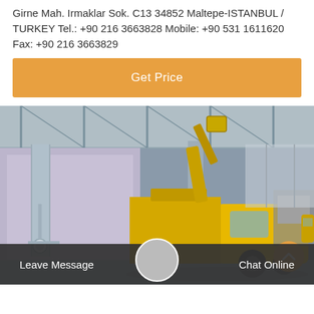Girne Mah. Irmaklar Sok. C13 34852 Maltepe-ISTANBUL / TURKEY Tel.: +90 216 3663828 Mobile: +90 531 1611620 Fax: +90 216 3663829
Get Price
[Figure (photo): Yellow utility truck with aerial boom lift inside a large industrial building or hangar.]
Leave Message
Chat Online